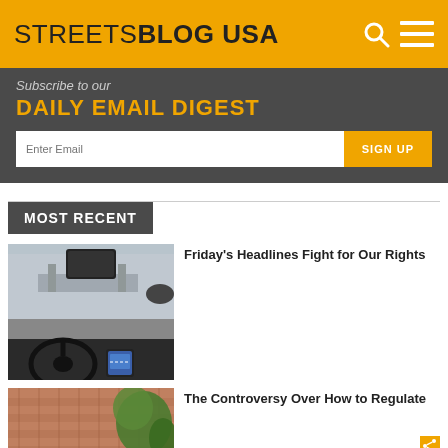STREETSBLOG USA
Subscribe to our DAILY EMAIL DIGEST
Enter Email
SIGN UP
MOST RECENT
[Figure (photo): View from inside a car, showing steering wheel, dashboard, rearview mirror, and a phone on the center console with city traffic visible through the windshield]
Friday's Headlines Fight for Our Rights
[Figure (photo): Partial view of a brick building exterior with green plants/foliage visible]
The Controversy Over How to Regulate